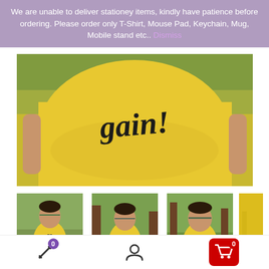We are unable to deliver stationey items, kindly have patience before ordering. Please order only T-Shirt, Mouse Pad, Keychain, Mug, Mobile stand etc.. Dismiss
[Figure (photo): Close-up of a yellow t-shirt with 'no pain no gain' text printed on it in black stylized font, worn by a person outdoors]
[Figure (photo): Young man wearing yellow t-shirt with 'no pain no gain' text, sitting outdoors with trees in background, wearing sunglasses]
[Figure (photo): Young man wearing yellow t-shirt with 'no pain no gain' text, sitting outdoors looking sideways, trees in background]
[Figure (photo): Young man wearing yellow t-shirt with 'no pain no gain' text, standing outdoors with trees in background, wearing sunglasses]
[Figure (photo): Partial side view of yellow t-shirt fabric]